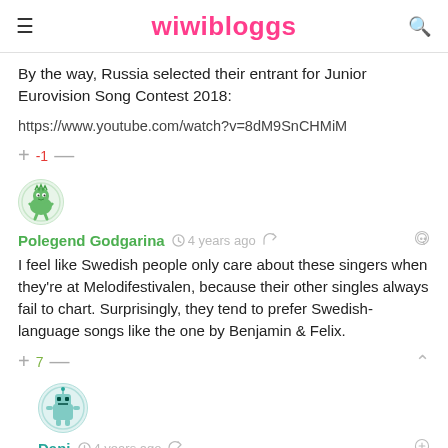wiwibloggs
By the way, Russia selected their entrant for Junior Eurovision Song Contest 2018:
https://www.youtube.com/watch?v=8dM9SnCHMiM
+ -1 —
[Figure (illustration): Small circular avatar of a green cartoon character (Polegend Godgarina)]
Polegend Godgarina  4 years ago
I feel like Swedish people only care about these singers when they're at Melodifestivalen, because their other singles always fail to chart. Surprisingly, they tend to prefer Swedish-language songs like the one by Benjamin & Felix.
+ 7 —
[Figure (illustration): Small circular avatar of a robot cartoon character (Dani)]
Dani  4 years ago